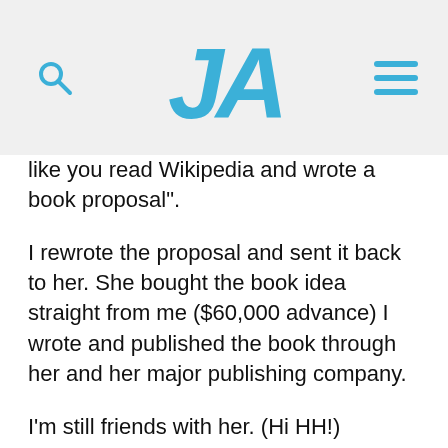JA (logo with search and menu icons)
like you read Wikipedia and wrote a book proposal”.
I rewrote the proposal and sent it back to her. She bought the book idea straight from me ($60,000 advance) I wrote and published the book through her and her major publishing company.
I’m still friends with her. (Hi HH!)
I never wrote to the agent again, even thought he wrote me many emails